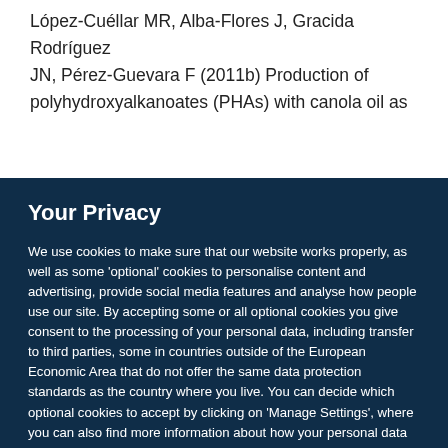López-Cuéllar MR, Alba-Flores J, Gracida Rodríguez JN, Pérez-Guevara F (2011b) Production of polyhydroxyalkanoates (PHAs) with canola oil as
Your Privacy
We use cookies to make sure that our website works properly, as well as some 'optional' cookies to personalise content and advertising, provide social media features and analyse how people use our site. By accepting some or all optional cookies you give consent to the processing of your personal data, including transfer to third parties, some in countries outside of the European Economic Area that do not offer the same data protection standards as the country where you live. You can decide which optional cookies to accept by clicking on 'Manage Settings', where you can also find more information about how your personal data is processed. Further information can be found in our privacy policy.
Accept all cookies
Manage preferences